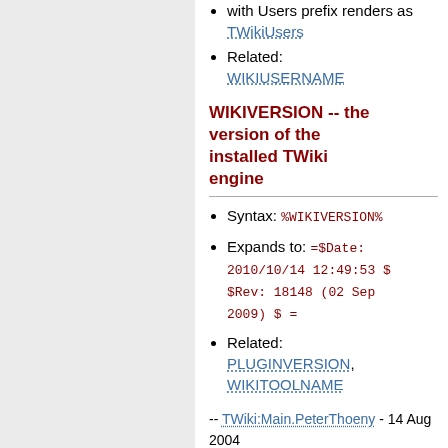with Users prefix renders as TWikiUsers
Related: WIKIUSERNAME
WIKIVERSION -- the version of the installed TWiki engine
Syntax: %WIKIVERSION%
Expands to: =$Date: 2010/10/14 12:49:53 $ $Rev: 18148 (02 Sep 2009) $ =
Related: PLUGINVERSION, WIKITOOLNAME
-- TWiki:Main.PeterThoeny - 14 Aug 2004